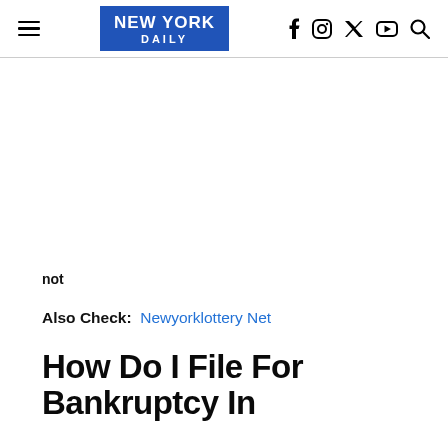NEW YORK DAILY — navigation header with hamburger menu, logo, and social icons (f, Instagram, Twitter, YouTube, Search)
not
Also Check:  Newyorklottery Net
How Do I File For Bankruptcy In